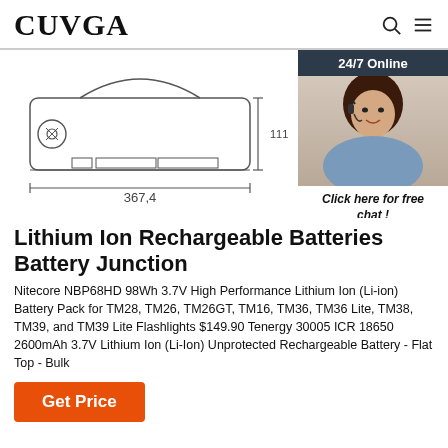CUVGA
[Figure (engineering-diagram): Technical engineering schematic/dimension drawing of a lithium ion battery pack showing side view with dimensions. Width labeled 367.4 and height labeled 111. Also shows a partial top/rear view of the battery bracket. Next to the diagram is a customer support chat widget with a photo of a woman with a headset.]
Lithium Ion Rechargeable Batteries Battery Junction
Nitecore NBP68HD 98Wh 3.7V High Performance Lithium Ion (Li-ion) Battery Pack for TM28, TM26, TM26GT, TM16, TM36, TM36 Lite, TM38, TM39, and TM39 Lite Flashlights $149.90 Tenergy 30005 ICR 18650 2600mAh 3.7V Lithium Ion (Li-Ion) Unprotected Rechargeable Battery - Flat Top - Bulk
Get Price